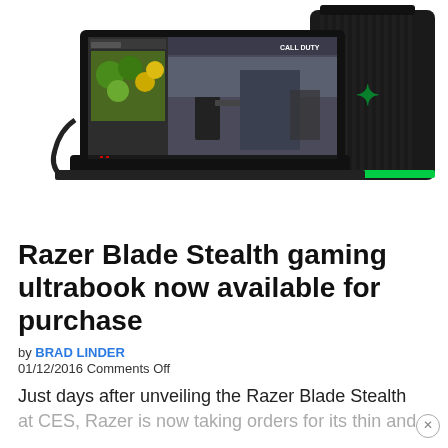[Figure (photo): Razer Blade Stealth gaming ultrabook laptop open showing multiple games on screen, alongside a black Razer Core external GPU enclosure with green LED accents]
Razer Blade Stealth gaming ultrabook now available for purchase
by BRAD LINDER
01/12/2016 Comments Off
Just days after unveiling the Razer Blade Stealth at CES, Razer is now taking orders for its thin and